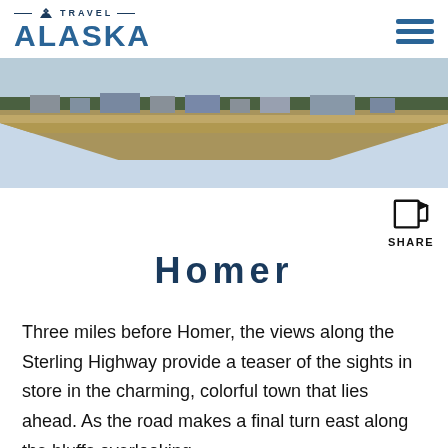Travel Alaska
[Figure (photo): Aerial or elevated view of Homer, Alaska town with buildings, trees, and open land, displayed in a downward-pointing chevron/diamond shape]
Homer
Three miles before Homer, the views along the Sterling Highway provide a teaser of the sights in store in the charming, colorful town that lies ahead. As the road makes a final turn east along the bluffs overlooking